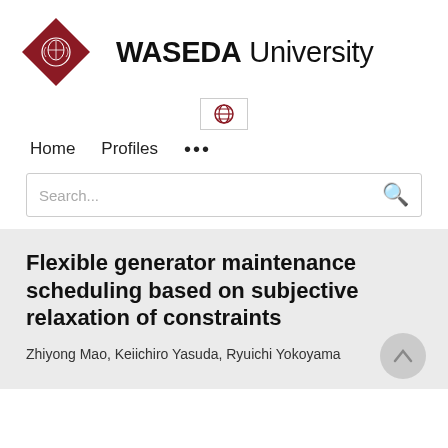[Figure (logo): Waseda University logo: a dark red diamond shape with a white crest/emblem inside, next to the text WASEDA University in large sans-serif font]
[Figure (other): Globe/language selector icon inside a bordered button]
Home   Profiles   ...
Search...
Flexible generator maintenance scheduling based on subjective relaxation of constraints
Zhiyong Mao, Keiichiro Yasuda, Ryuichi Yokoyama